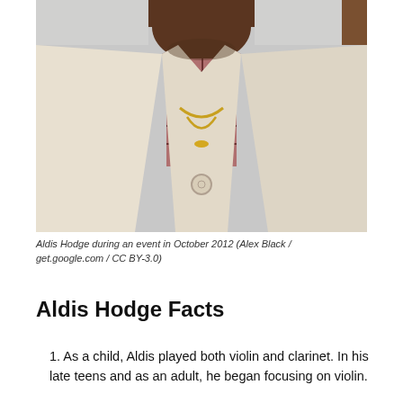[Figure (photo): A photo of Aldis Hodge wearing a cream-colored cardigan sweater over a plaid shirt with a gold chain necklace, photographed from the chest up during an event in October 2012.]
Aldis Hodge during an event in October 2012 (Alex Black / get.google.com / CC BY-3.0)
Aldis Hodge Facts
1. As a child, Aldis played both violin and clarinet. In his late teens and as an adult, he began focusing on violin.